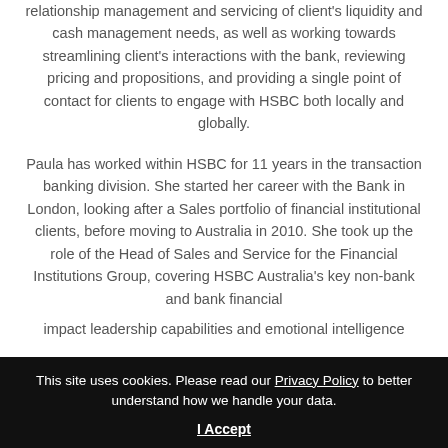experienced team are tasked with the day-to-day relationship management and servicing of client's liquidity and cash management needs, as well as working towards streamlining client's interactions with the bank, reviewing pricing and propositions, and providing a single point of contact for clients to engage with HSBC both locally and globally.
Paula has worked within HSBC for 11 years in the transaction banking division. She started her career with the Bank in London, looking after a Sales portfolio of financial institutional clients, before moving to Australia in 2010. She took up the role of the Head of Sales and Service for the Financial Institutions Group, covering HSBC Australia's key non-bank and bank financial
This site uses cookies. Please read our Privacy Policy to better understand how we handle your data.
I Accept
impact leadership capabilities and emotional intelligence